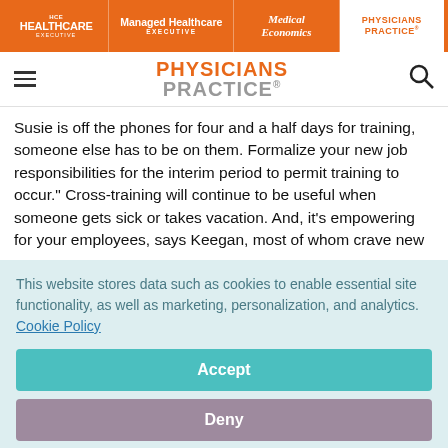HCE HEALTHCARE EXECUTIVE | Managed Healthcare EXECUTIVE | Medical Economics | PHYSICIANS PRACTICE
[Figure (logo): Physicians Practice logo with hamburger menu and search icon]
Susie is off the phones for four and a half days for training, someone else has to be on them. Formalize your new job responsibilities for the interim period to permit training to occur." Cross-training will continue to be useful when someone gets sick or takes vacation. And, it's empowering for your employees, says Keegan, most of whom crave new
This website stores data such as cookies to enable essential site functionality, as well as marketing, personalization, and analytics. Cookie Policy
Accept
Deny